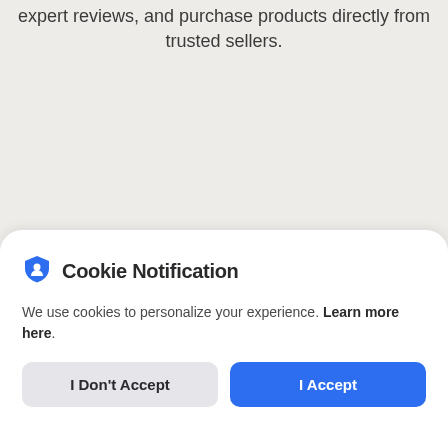expert reviews, and purchase products directly from trusted sellers.
[Figure (screenshot): Cookie notification modal overlay on a light gray background webpage. Modal has a shield icon, title 'Cookie Notification', body text about cookies, and two buttons: 'I Don't Accept' and 'I Accept'.]
Cookie Notification
We use cookies to personalize your experience. Learn more here.
I Don't Accept
I Accept